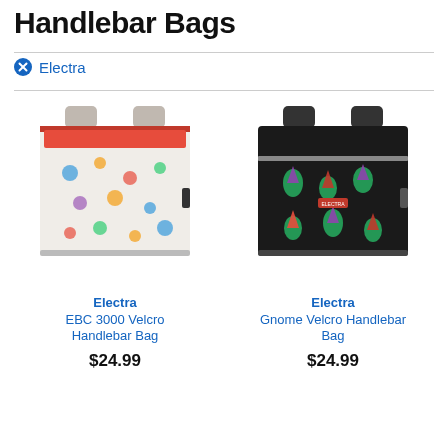Handlebar Bags
Electra
[Figure (photo): Electra EBC 3000 Velcro Handlebar Bag with robot-pattern fabric and red interior, shown open from above]
Electra
EBC 3000 Velcro Handlebar Bag
$24.99
[Figure (photo): Electra Gnome Velcro Handlebar Bag with gnome-pattern fabric on black background]
Electra
Gnome Velcro Handlebar Bag
$24.99